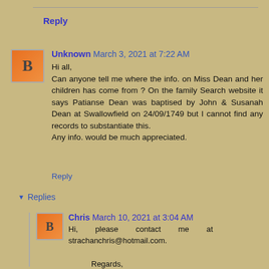Reply
Unknown March 3, 2021 at 7:22 AM
Hi all,
Can anyone tell me where the info. on Miss Dean and her children has come from ? On the family Search website it says Patianse Dean was baptised by John & Susanah Dean at Swallowfield on 24/09/1749 but I cannot find any records to substantiate this.
Any info. would be much appreciated.
Reply
Replies
Chris March 10, 2021 at 3:04 AM
Hi, please contact me at strachanchris@hotmail.com.
Regards,